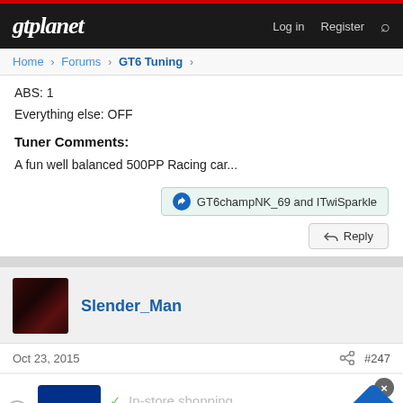gtplanet — Log in  Register
Home > Forums > GT6 Tuning >
ABS: 1
Everything else: OFF
Tuner Comments:
A fun well balanced 500PP Racing car...
GT6champNK_69 and ITwiSparkle
Reply
Slender_Man
Oct 23, 2015  #247
[Figure (screenshot): Petco advertisement banner showing in-store shopping and curbside pickup options]